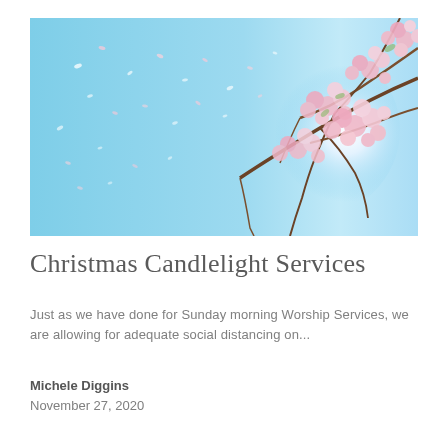[Figure (photo): Cherry blossom branches with pink flowers against a bright blue sky, with soft white petals floating in the air and sunlight glowing behind the blossoms on the right side.]
Christmas Candlelight Services
Just as we have done for Sunday morning Worship Services, we are allowing for adequate social distancing on...
Michele Diggins
November 27, 2020